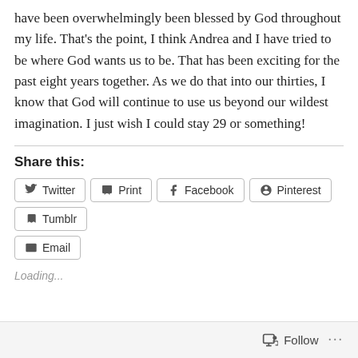have been overwhelmingly been blessed by God throughout my life. That's the point, I think Andrea and I have tried to be where God wants us to be. That has been exciting for the past eight years together. As we do that into our thirties, I know that God will continue to use us beyond our wildest imagination. I just wish I could stay 29 or something!
Share this:
[Figure (screenshot): Social sharing buttons: Twitter, Print, Facebook, Pinterest, Tumblr, Email]
Loading...
Follow ...